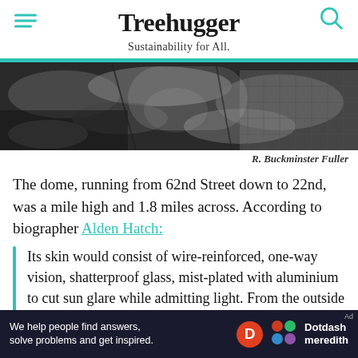Treehugger — Sustainability for All.
[Figure (photo): Black and white aerial photograph, attributed to R. Buckminster Fuller]
R. Buckminster Fuller
The dome, running from 62nd Street down to 22nd, was a mile high and 1.8 miles across. According to biographer Alden Hatch:
Its skin would consist of wire-reinforced, one-way vision, shatterproof glass, mist-plated with aluminium to cut sun glare while admitting light. From the outside it would look like a great glittering
[Figure (other): Dotdash Meredith advertisement banner: 'We help people find answers, solve problems and get inspired.']